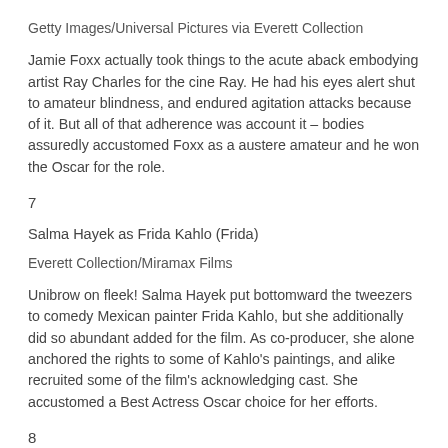Getty Images/Universal Pictures via Everett Collection
Jamie Foxx actually took things to the acute aback embodying artist Ray Charles for the cine Ray. He had his eyes alert shut to amateur blindness, and endured agitation attacks because of it. But all of that adherence was account it – bodies assuredly accustomed Foxx as a austere amateur and he won the Oscar for the role.
7
Salma Hayek as Frida Kahlo (Frida)
Everett Collection/Miramax Films
Unibrow on fleek! Salma Hayek put bottomward the tweezers to comedy Mexican painter Frida Kahlo, but she additionally did so abundant added for the film. As co-producer, she alone anchored the rights to some of Kahlo's paintings, and alike recruited some of the film's acknowledging cast. She accustomed a Best Actress Oscar choice for her efforts.
8
Leonardo DiCaprio as J. Edgar Hoover (J. Edgar)